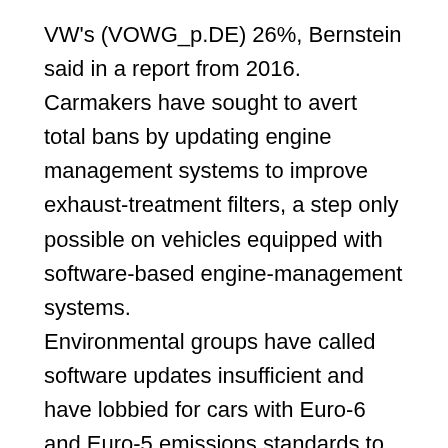VW's (VOWG_p.DE) 26%, Bernstein said in a report from 2016. Carmakers have sought to avert total bans by updating engine management systems to improve exhaust-treatment filters, a step only possible on vehicles equipped with software-based engine-management systems. Environmental groups have called software updates insufficient and have lobbied for cars with Euro-6 and Euro-5 emissions standards to receive hardware updates of their exhaust treatment systems, costing at least €1,500 per vehicle. Europe's love affair with diesel is already fading, with its market share in the European Union falling from 53.6% at the end of 2014 to 49.9% at the end of 2016. European automotive association ACEA...